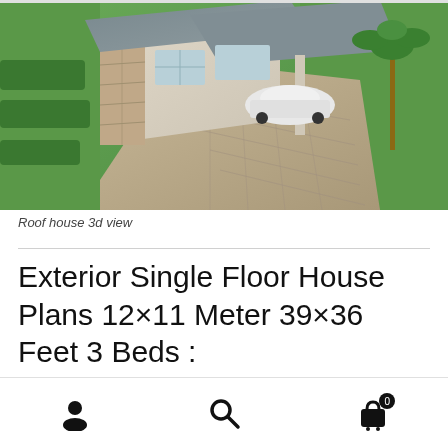[Figure (photo): Aerial 3D rendering of a single floor house with gray roof, carport with white car, stone driveway, green lawn, and palm tree]
Roof house 3d view
Exterior Single Floor House Plans 12×11 Meter 39×36 Feet 3 Beds :
Similarly, to the roof border color we choose a bite dark
Navigation bar with user, search, and cart (0) icons